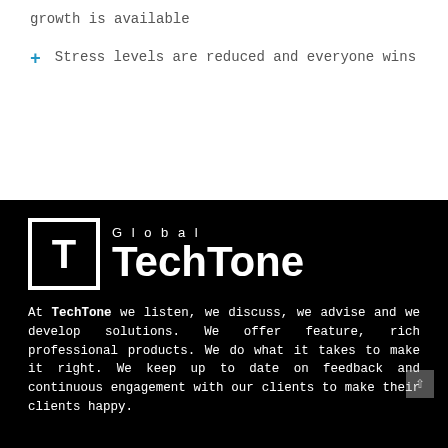growth is available
Stress levels are reduced and everyone wins
[Figure (logo): TechTone Global logo: a square bracket T icon in white on black background beside white bold text 'TechTone' with 'Global' in smaller letters above]
At TechTone we listen, we discuss, we advise and we develop solutions. We offer feature, rich professional products. We do what it takes to make it right. We keep up to date on feedback and continuous engagement with our clients to make their clients happy.